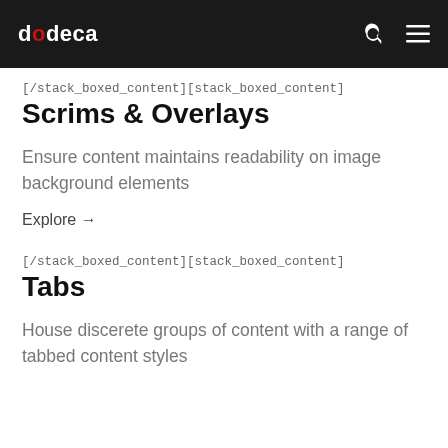dodeca
[/stack_boxed_content][stack_boxed_content]
Scrims & Overlays
Ensure content maintains readability on image background elements
Explore →
[/stack_boxed_content][stack_boxed_content]
Tabs
House discerete groups of content with a range of tabbed content styles